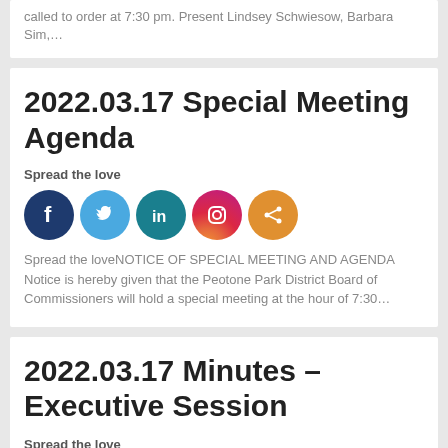called to order at 7:30 pm. Present Lindsey Schwiesow, Barbara Sim,…
2022.03.17 Special Meeting Agenda
Spread the love
[Figure (infographic): Row of five social media share icons: Facebook (dark blue), Twitter (light blue), LinkedIn (teal), Instagram (gradient pink/orange), Share (orange)]
Spread the loveNOTICE OF SPECIAL MEETING AND AGENDA Notice is hereby given that the Peotone Park District Board of Commissioners will hold a special meeting at the hour of 7:30…
2022.03.17 Minutes – Executive Session
Spread the love